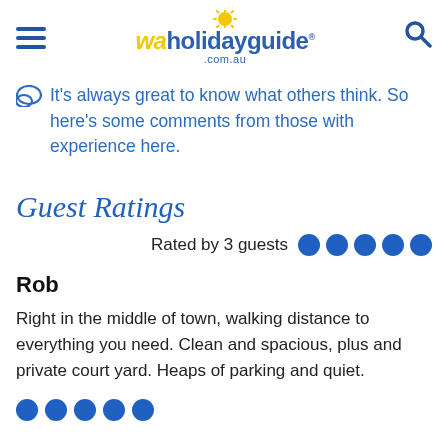wa holiday guide .com.au
It's always great to know what others think. So here's some comments from those with experience here.
Guest Ratings
Rated by 3 guests ●●●●●
Rob
Right in the middle of town, walking distance to everything you need. Clean and spacious, plus and private court yard. Heaps of parking and quiet.
●●●●●